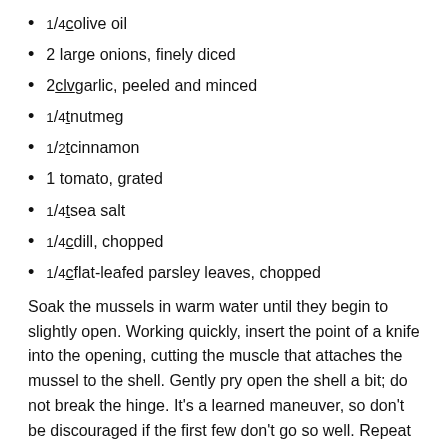1/4 c olive oil
2 large onions, finely diced
2 clv garlic, peeled and minced
1/4 t nutmeg
1/2 t cinnamon
1 tomato, grated
1/4 t sea salt
1/4 c dill, chopped
1/4 c flat-leafed parsley leaves, chopped
Soak the mussels in warm water until they begin to slightly open. Working quickly, insert the point of a knife into the opening, cutting the muscle that attaches the mussel to the shell. Gently pry open the shell a bit; do not break the hinge. It's a learned maneuver, so don't be discouraged if the first few don't go so well. Repeat with all the mussels, then rinse and refrigerate.
Soak the currants in warm water about 15 minutes, then drain.